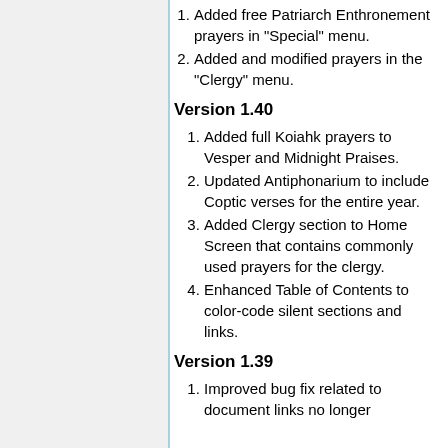1. Added free Patriarch Enthronement prayers in "Special" menu.
2. Added and modified prayers in the "Clergy" menu.
Version 1.40
1. Added full Koiahk prayers to Vesper and Midnight Praises.
2. Updated Antiphonarium to include Coptic verses for the entire year.
3. Added Clergy section to Home Screen that contains commonly used prayers for the clergy.
4. Enhanced Table of Contents to color-code silent sections and links.
Version 1.39
1. Improved bug fix related to document links no longer